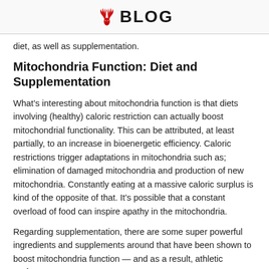BLOG
diet, as well as supplementation.
Mitochondria Function: Diet and Supplementation
What’s interesting about mitochondria function is that diets involving (healthy) caloric restriction can actually boost mitochondrial functionality. This can be attributed, at least partially, to an increase in bioenergetic efficiency. Caloric restrictions trigger adaptations in mitochondria such as; elimination of damaged mitochondria and production of new mitochondria. Constantly eating at a massive caloric surplus is kind of the opposite of that. It’s possible that a constant overload of food can inspire apathy in the mitochondria.
Regarding supplementation, there are some super powerful ingredients and supplements around that have been shown to boost mitochondria function — and as a result, athletic performance.